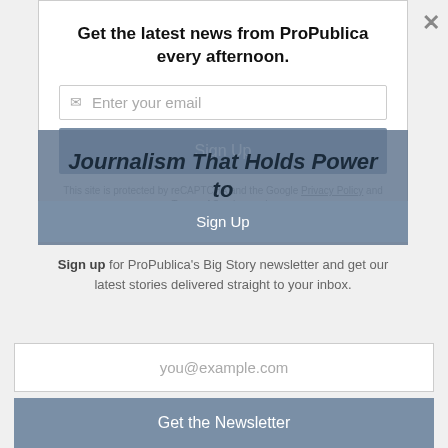Get the latest news from ProPublica every afternoon.
[Figure (screenshot): Email input field with envelope icon and placeholder text 'Enter your email']
[Figure (screenshot): Sign Up button with grey background]
Journalism That Holds Power to Account
Sign Up
This site is protected by reCAPTCHA and the Google Privacy Policy and Terms of Service apply.
Sign up for ProPublica’s Big Story newsletter and get our latest stories delivered straight to your inbox.
[Figure (screenshot): Email input field with placeholder text 'you@example.com']
[Figure (screenshot): Get the Newsletter button with grey background]
No thanks, I'm all set
This site is protected by reCAPTCHA and the Google Privacy Policy and Terms of Service apply.